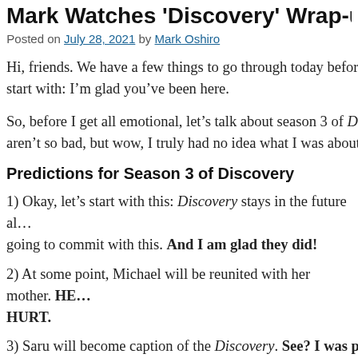Mark Watches 'Discovery' Wrap-up / Mark...
Posted on July 28, 2021 by Mark Oshiro
Hi, friends. We have a few things to go through today before I s... start with: I’m glad you’ve been here.
So, before I get all emotional, let’s talk about season 3 of D... aren’t so bad, but wow, I truly had no idea what I was about...
Predictions for Season 3 of Discovery
1) Okay, let’s start with this: Discovery stays in the future a... going to commit with this. And I am glad they did!
2) At some point, Michael will be reunited with her mother. HE... HURT.
3) Saru will become caption of the Discovery. See? I was prett...
4) Everyone will discover that they did indeed save the future i...